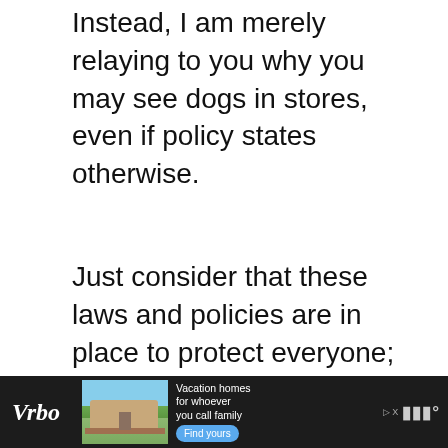Instead, I am merely relaying to you why you may see dogs in stores, even if policy states otherwise.
Just consider that these laws and policies are in place to protect everyone; from potential food contamination all the way through to the needs and requirements of those who need their service dogs.
Do what’s right.
[Figure (infographic): Vrbo vacation rental advertisement banner with logo, house image, and 'Vacation homes for whoever you call family' text with Find yours button]